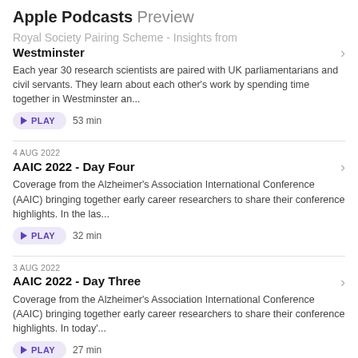Apple Podcasts Preview
Royal Society Pairing Scheme - Insights from Westminster
Each year 30 research scientists are paired with UK parliamentarians and civil servants. They learn about each other's work by spending time together in Westminster an...
PLAY  53 min
4 AUG 2022
AAIC 2022 - Day Four
Coverage from the Alzheimer's Association International Conference (AAIC) bringing together early career researchers to share their conference highlights. In the las...
PLAY  32 min
3 AUG 2022
AAIC 2022 - Day Three
Coverage from the Alzheimer's Association International Conference (AAIC) bringing together early career researchers to share their conference highlights. In today'...
PLAY  27 min